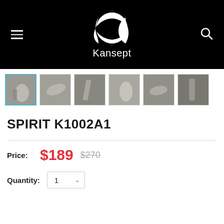[Figure (screenshot): Kansept brand logo (white stylized throwing star / shuriken shape) on black background with brand name Kansept below it]
[Figure (photo): Six product thumbnail images of the SPIRIT K1002A1 folding knife shown from various angles, held in a hand]
SPIRIT K1002A1
Price: $189  $270
Quantity: 1